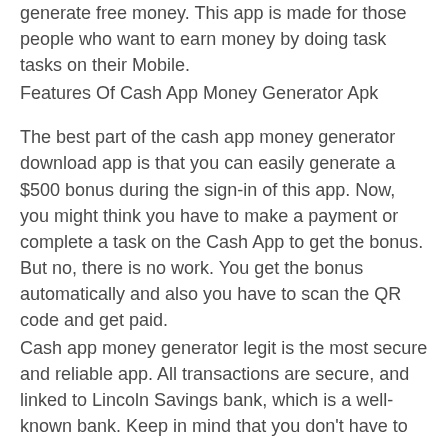generate free money. This app is made for those people who want to earn money by doing task tasks on their Mobile.
Features Of Cash App Money Generator Apk
The best part of the cash app money generator download app is that you can easily generate a $500 bonus during the sign-in of this app. Now, you might think you have to make a payment or complete a task on the Cash App to get the bonus. But no, there is no work. You get the bonus automatically and also you have to scan the QR code and get paid.
Cash app money generator legit is the most secure and reliable app. All transactions are secure, and linked to Lincoln Savings bank, which is a well-known bank. Keep in mind that you don't have to worry.
Using the cash app money generator, no survey app is highly protected. It has internal system locks so no one else can make transactions on it.